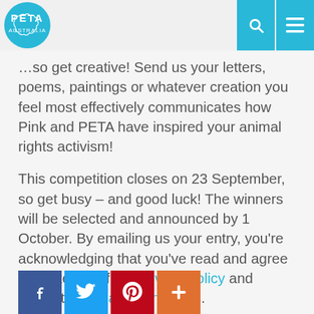PETA Australia
…so get creative! Send us your letters, poems, paintings or whatever creation you feel most effectively communicates how Pink and PETA have inspired your animal rights activism!
This competition closes on 23 September, so get busy – and good luck! The winners will be selected and announced by 1 October. By emailing us your entry, you're acknowledging that you've read and agree to the terms of our privacy policy and contest terms and conditions.
Posted by Claire Fryer
[Figure (other): Social media share buttons: Facebook, Twitter, Pinterest, Plus]